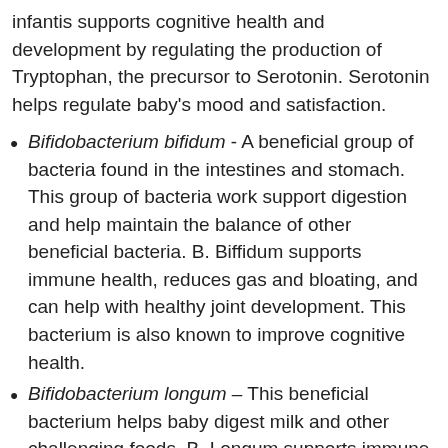infantis supports cognitive health and development by regulating the production of Tryptophan, the precursor to Serotonin. Serotonin helps regulate baby's mood and satisfaction.
Bifidobacterium bifidum - A beneficial group of bacteria found in the intestines and stomach. This group of bacteria work support digestion and help maintain the balance of other beneficial bacteria. B. Biffidum supports immune health, reduces gas and bloating, and can help with healthy joint development. This bacterium is also known to improve cognitive health.
Bifidobacterium longum – This beneficial bacterium helps baby digest milk and other challenging foods. B. Longum supports immune health and healthy growth in children. It also helps maintain healthy cholesterol levels and helps baby to relieve stress.
Bifidobacterium breve – This is one of the most